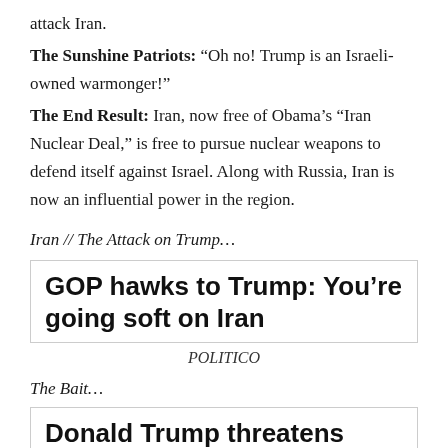attack Iran.
The Sunshine Patriots: “Oh no! Trump is an Israeli-owned warmonger!”
The End Result: Iran, now free of Obama’s “Iran Nuclear Deal,” is free to pursue nuclear weapons to defend itself against Israel. Along with Russia, Iran is now an influential power in the region.
Iran // The Attack on Trump…
GOP hawks to Trump: You’re going soft on Iran
POLITICO
The Bait…
Donald Trump threatens